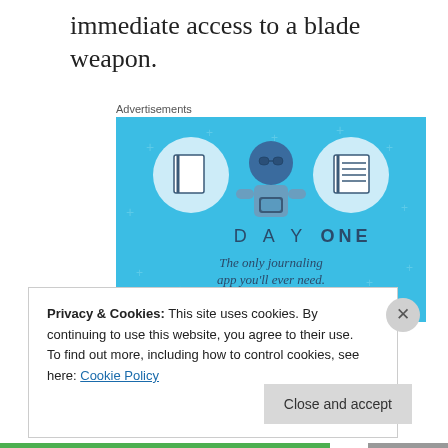immediate access to a blade weapon.
Advertisements
[Figure (illustration): Day One journaling app advertisement. Sky blue background with small plus signs scattered throughout. Center shows an illustrated person holding a phone, flanked by two circular icons showing a blank notebook and a lined notebook. Text reads 'DAY ONE' and 'The only journaling app you'll ever need.']
Privacy & Cookies: This site uses cookies. By continuing to use this website, you agree to their use.
To find out more, including how to control cookies, see here: Cookie Policy